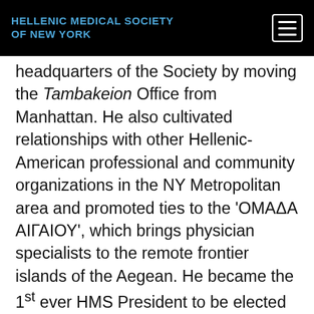HELLENIC MEDICAL SOCIETY OF NEW YORK
headquarters of the Society by moving the Tambakeion Office from Manhattan. He also cultivated relationships with other Hellenic-American professional and community organizations in the NY Metropolitan area and promoted ties to the 'ΟΜΑΔΑ ΑΙΓΑΙΟΥ', which brings physician specialists to the remote frontier islands of the Aegean. He became the 1st ever HMS President to be elected as the Grand Marshal of the March 25, 2010 Hellenic parade...